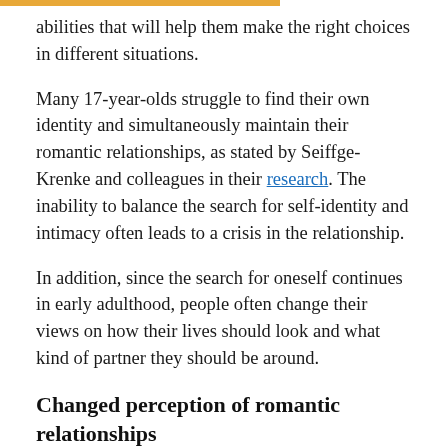abilities that will help them make the right choices in different situations.
Many 17-year-olds struggle to find their own identity and simultaneously maintain their romantic relationships, as stated by Seiffge-Krenke and colleagues in their research. The inability to balance the search for self-identity and intimacy often leads to a crisis in the relationship.
In addition, since the search for oneself continues in early adulthood, people often change their views on how their lives should look and what kind of partner they should be around.
Changed perception of romantic relationships